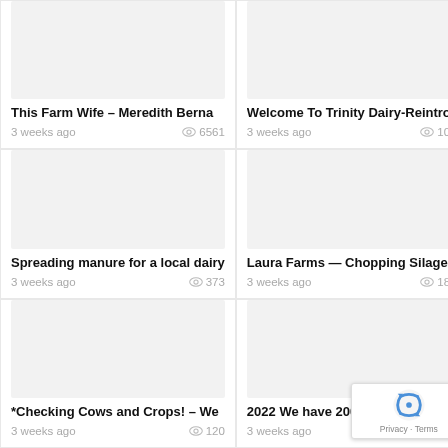[Figure (screenshot): Video thumbnail placeholder (gray box) for 'This Farm Wife – Meredith Berna']
This Farm Wife – Meredith Berna
3 weeks ago   👁 6561
[Figure (screenshot): Video thumbnail placeholder (gray box) for 'Welcome To Trinity Dairy-Reintro']
Welcome To Trinity Dairy-Reintro
3 weeks ago   👁 1058
[Figure (screenshot): Video thumbnail placeholder (gray box) for 'Spreading manure for a local dairy']
Spreading manure for a local dairy
3 weeks ago   👁 373
[Figure (screenshot): Video thumbnail placeholder (gray box) for 'Laura Farms — Chopping Silage in']
Laura Farms — Chopping Silage in
3 weeks ago   👁 1837
[Figure (screenshot): Video thumbnail placeholder (gray box) for '*Checking Cows and Crops! – We']
*Checking Cows and Crops! – We
3 weeks ago   👁 120
[Figure (screenshot): Video thumbnail placeholder (gray box) for '2022 We have 2000 bales no']
2022 We have 2000 bales no
3 weeks ago
[Figure (other): reCAPTCHA privacy badge with spinning logo, 'Privacy · Terms' text]